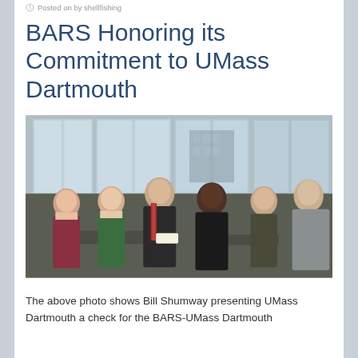Posted on by shellfishing
BARS Honoring its Commitment to UMass Dartmouth
[Figure (photo): Group photo of six people standing together in an office with large windows. Bill Shumway is presenting a check to a UMass Dartmouth representative.]
The above photo shows Bill Shumway presenting UMass Dartmouth a check for the BARS-UMass Dartmouth